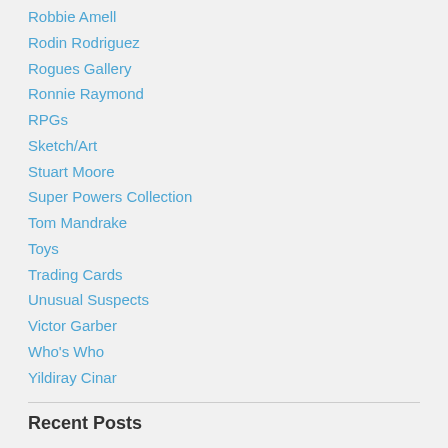Robbie Amell
Rodin Rodriguez
Rogues Gallery
Ronnie Raymond
RPGs
Sketch/Art
Stuart Moore
Super Powers Collection
Tom Mandrake
Toys
Trading Cards
Unusual Suspects
Victor Garber
Who's Who
Yildiray Cinar
Recent Posts
WHO'S WHO IN THE DC UNIVERSE PODCAST, Volume 9
In Stores This Week – Back Issue Magazine #112 with Firestorm!
Ramona Fradon draws Firestorm
Doomsday Clock #8 & #9 – Reaction from a Firestorm Fan **SPOILERS**